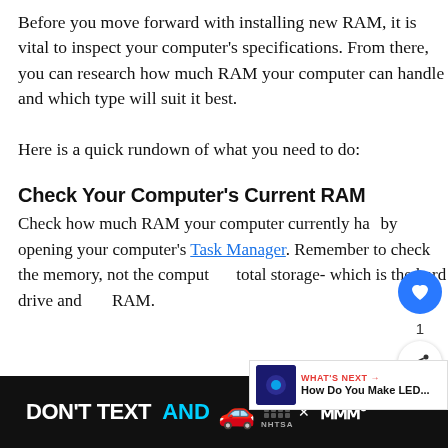Before you move forward with installing new RAM, it is vital to inspect your computer's specifications. From there, you can research how much RAM your computer can handle and which type will suit it best.

Here is a quick rundown of what you need to do:
Check Your Computer's Current RAM
Check how much RAM your computer currently has by opening your computer's Task Manager. Remember to check the memory, not the computer total storage- which is the hard drive and not RAM.
[Figure (screenshot): UI overlay with heart/like button (blue circle with heart icon, count 1) and share button, plus a What's Next panel showing 'How Do You Make LED...' with a dark blue thumbnail]
[Figure (infographic): Ad banner on black background: 'DON'T TEXT AND' in white and cyan bold text with a red car emoji, ad badge, X close button, NHTSA dotted logo, and a white M logo on right]